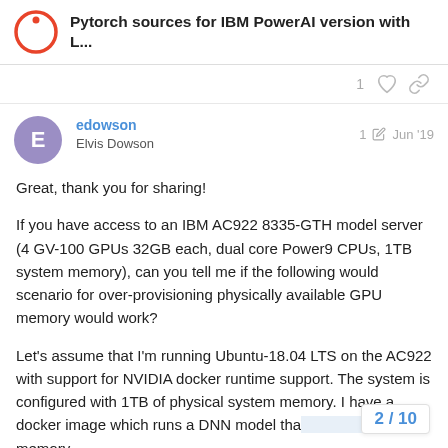Pytorch sources for IBM PowerAI version with L...
1
edowson Elvis Dowson 1 Jun '19
Great, thank you for sharing!
If you have access to an IBM AC922 8335-GTH model server (4 GV-100 GPUs 32GB each, dual core Power9 CPUs, 1TB system memory), can you tell me if the following would scenario for over-provisioning physically available GPU memory would work?
Let's assume that I'm running Ubuntu-18.04 LTS on the AC922 with support for NVIDIA docker runtime support. The system is configured with 1TB of physical system memory. I have a docker image which runs a DNN model tha... GPU memory.
2 / 10